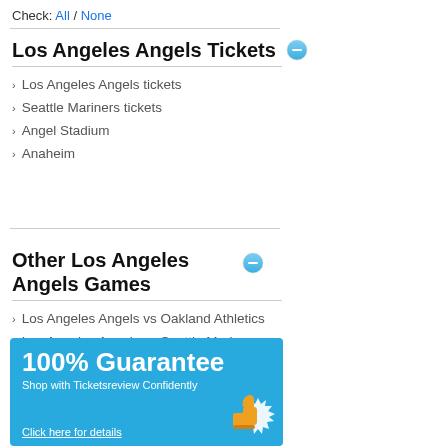Check: All / None
Los Angeles Angels Tickets
Los Angeles Angels tickets
Seattle Mariners tickets
Angel Stadium
Anaheim
Other Los Angeles Angels Games
Los Angeles Angels vs Oakland Athletics
Los Angeles Angels vs Seattle Mariners
Los Angeles Angels vs Texas Rangers
[Figure (infographic): 100% Guarantee banner with blue background. Text reads '100% Guarantee', 'Shop with Ticketsreview Confidently', 'Click here for details'. Orange thumbs-up icon at bottom right.]